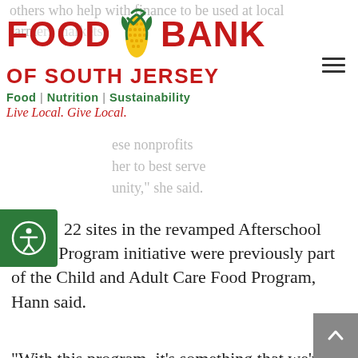others who help with finance to be used at local farmers markets.
[Figure (logo): Food Bank of South Jersey logo with corn graphic. Text: FOOD BANK OF SOUTH JERSEY. Food | Nutrition | Sustainability. Live Local. Give Local.]
these nonprofits together to best serve the community, she said.
[Figure (other): Accessibility icon button (person in circle) on green square background]
22 sites in the revamped Afterschool Meals Program initiative were previously part of the Child and Adult Care Food Program, Hann said.
“With this program, it’s something that we’ve done technically for a number of years by serving these afterschool snacks, but now we’re just taking that component and really enriching it,” Hann said.